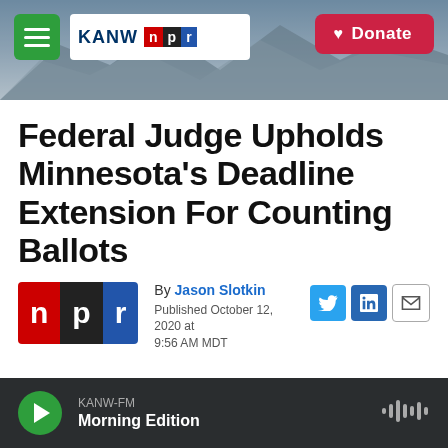[Figure (screenshot): KANW NPR radio station website header with mountain landscape background, green hamburger menu button, KANW NPR logo, and red Donate button]
Federal Judge Upholds Minnesota's Deadline Extension For Counting Ballots
By Jason Slotkin
Published October 12, 2020 at 9:56 AM MDT
[Figure (logo): NPR logo with red N, black P, blue R blocks and social sharing icons for Twitter, LinkedIn, and Email]
KANW-FM Morning Edition